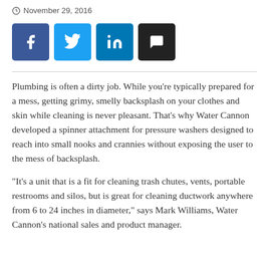November 29, 2016
[Figure (infographic): Social share buttons: Facebook (blue), Twitter (light blue), LinkedIn (dark blue), Comment (black)]
Plumbing is often a dirty job. While you’re typically prepared for a mess, getting grimy, smelly backsplash on your clothes and skin while cleaning is never pleasant. That’s why Water Cannon developed a spinner attachment for pressure washers designed to reach into small nooks and crannies without exposing the user to the mess of backsplash.
“It’s a unit that is a fit for cleaning trash chutes, vents, portable restrooms and silos, but is great for cleaning ductwork anywhere from 6 to 24 inches in diameter,” says Mark Williams, Water Cannon’s national sales and product manager.